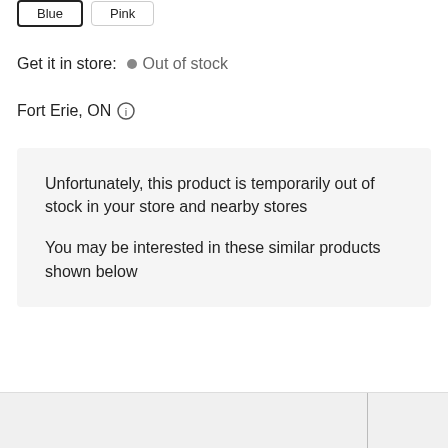[Figure (other): Two color selector buttons: 'Blue' (selected, bold border) and 'Pink' (unselected, light border)]
Get it in store:  • Out of stock
Fort Erie, ON ℹ
Unfortunately, this product is temporarily out of stock in your store and nearby stores

You may be interested in these similar products shown below